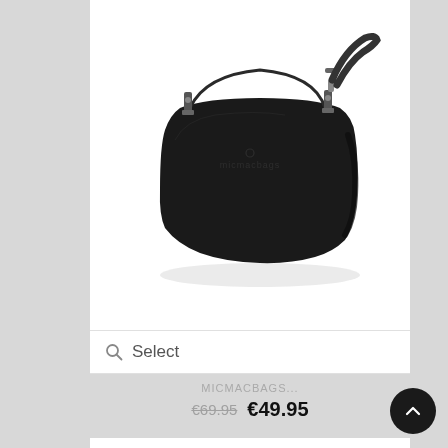[Figure (photo): Black leather crossbody/shoulder bag with zipper closure and silver zipper hardware, shown on white background]
Select
MICMACBAGS...
€69.95  €49.95